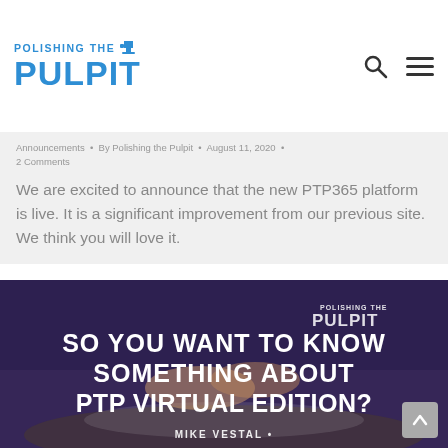POLISHING THE PULPIT
Announcements • By Polishing the Pulpit • August 11, 2020 • 2 Comments
We are excited to announce that the new PTP365 platform is live. It is a significant improvement from our previous site. We think you will love it.
[Figure (photo): Promotional image with hands clasped over an open Bible on a wooden surface, dark purple/blue overlay. Text overlay reads: SO YOU WANT TO KNOW SOMETHING ABOUT PTP VIRTUAL EDITION? MIKE VESTAL. Polishing the Pulpit logo in top right corner.]